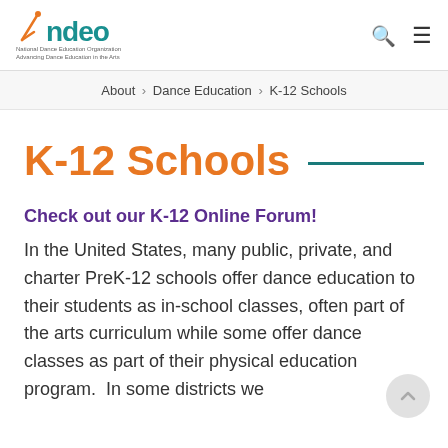ndeo — National Dance Education Organization — Advancing Dance Education in the Arts
About › Dance Education › K-12 Schools
K-12 Schools
Check out our K-12 Online Forum!
In the United States, many public, private, and charter PreK-12 schools offer dance education to their students as in-school classes, often part of the arts curriculum while some offer dance classes as part of their physical education program.  In some districts we